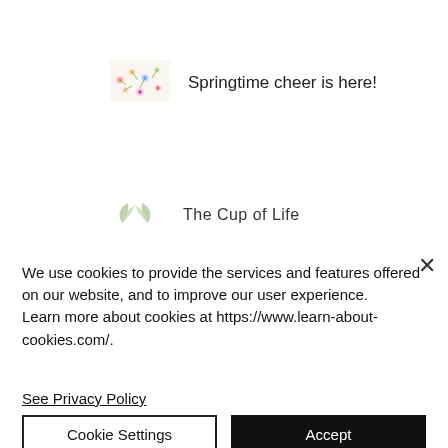[Figure (illustration): Small rectangular image with colorful spring flowers pattern]
Springtime cheer is here!
[Figure (logo): Small green leaf/tea logo for The Cup of Life]
The Cup of Life
×
We use cookies to provide the services and features offered on our website, and to improve our user experience. Learn more about cookies at https://www.learn-about-cookies.com/.
See Privacy Policy
Cookie Settings
Accept